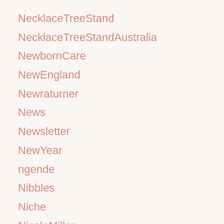NecklaceTreeStand
NecklaceTreeStandAustralia
NewbornCare
NewEngland
Newraturner
News
Newsletter
NewYear
ngende
Nibbles
Niche
NicoleMiller
NicoleMillerArtelierShoes
NicoleMillerArtelierSilkTop